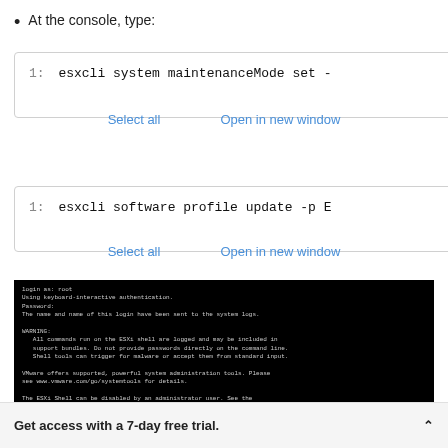At the console, type:
1: esxcli system maintenanceMode set -
Select all   Open in new window
1: esxcli software profile update -p E
Select all   Open in new window
[Figure (screenshot): Terminal/console screenshot showing ESXi shell login and commands including esxcli software profile update with a red rectangle highlighting a command line]
Get access with a 7-day free trial.